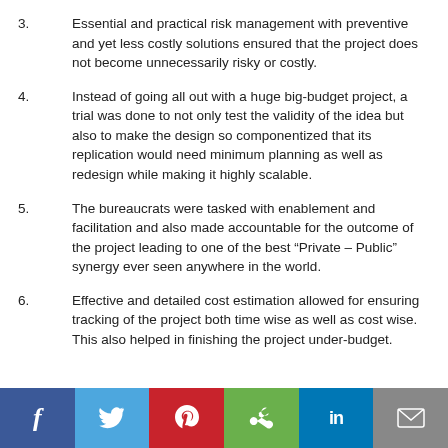3.	Essential and practical risk management with preventive and yet less costly solutions ensured that the project does not become unnecessarily risky or costly.
4.	Instead of going all out with a huge big-budget project, a trial was done to not only test the validity of the idea but also to make the design so componentized that its replication would need minimum planning as well as redesign while making it highly scalable.
5.	The bureaucrats were tasked with enablement and facilitation and also made accountable for the outcome of the project leading to one of the best “Private – Public” synergy ever seen anywhere in the world.
6.	Effective and detailed cost estimation allowed for ensuring tracking of the project both time wise as well as cost wise. This also helped in finishing the project under-budget.